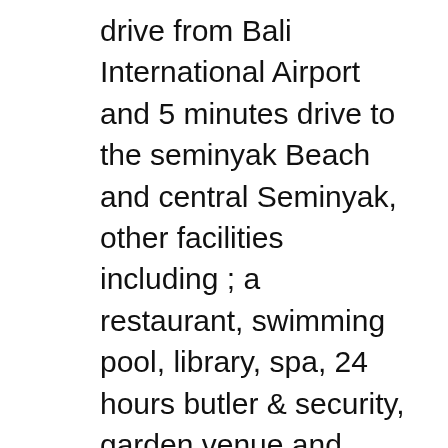drive from Bali International Airport and 5 minutes drive to the seminyak Beach and central Seminyak, other facilities including ; a restaurant, swimming pool, library, spa, 24 hours butler & security, garden venue and parking space.
Bali Nyuh Gading Villa, Kerobokan: Se 147 anmeldelser fra rejsende, 247 billeder og gode tilbud vedr. Bali Nyuh Gading Villa, placeret som nr. 17 af 124 specielle indlogeringssteder i Kerobokan og med bedГëmmelsen 4,5 af 5 рГГ TripAdvisor. Bali Nyuh Gading Villa, Kerobokan: See 147 traveller reviews, 247 candid photos, and great deals for Bali Nyuh Gading Villa, ranked #17 of 124 Speciality lodging in Kerobokan and